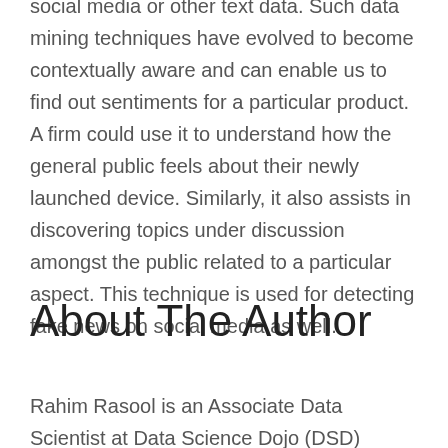social media or other text data. Such data mining techniques have evolved to become contextually aware and can enable us to find out sentiments for a particular product. A firm could use it to understand how the general public feels about their newly launched device. Similarly, it also assists in discovering topics under discussion amongst the public related to a particular aspect. This technique is used for detecting fake news on social media as well.
About The Author
Rahim Rasool is an Associate Data Scientist at Data Science Dojo (DSD) where he helps create learning